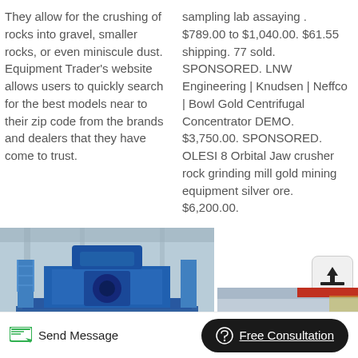They allow for the crushing of rocks into gravel, smaller rocks, or even miniscule dust. Equipment Trader's website allows users to quickly search for the best models near to their zip code from the brands and dealers that they have come to trust.
sampling lab assaying . $789.00 to $1,040.00. $61.55 shipping. 77 sold. SPONSORED. LNW Engineering | Knudsen | Neffco | Bowl Gold Centrifugal Concentrator DEMO. $3,750.00. SPONSORED. OLESI 8 Orbital Jaw crusher rock grinding mill gold mining equipment silver ore. $6,200.00.
[Figure (photo): Blue industrial rock crusher machine in a factory/warehouse setting]
[Figure (photo): Orange and black wheel/flywheel of a jaw crusher rock grinding machine in an industrial setting]
Send Message
Free Consultation